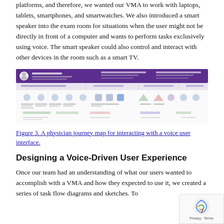platforms, and therefore, we wanted our VMA to work with laptops, tablets, smartphones, and smartwatches. We also introduced a smart speaker into the exam room for situations when the user might not be directly in front of a computer and wants to perform tasks exclusively using voice. The smart speaker could also control and interact with other devices in the room such as a smart TV.
[Figure (screenshot): A physician journey map for interacting with a voice user interface, showing a horizontal flowchart with purple header bar and multiple columns of steps with icons.]
Figure 3. A physician journey map for interacting with a voice user interface.
Designing a Voice-Driven User Experience
Once our team had an understanding of what our users wanted to accomplish with a VMA and how they expected to use it, we created a series of task flow diagrams and sketches. To